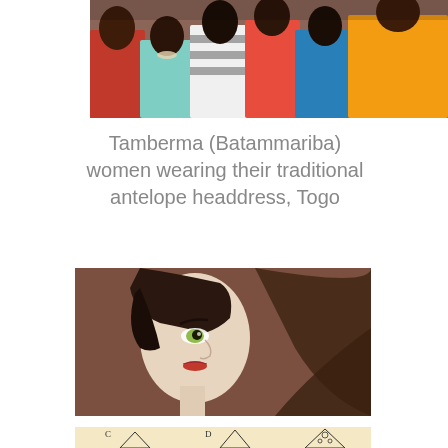[Figure (photo): Group of Tamberma (Batammariba) women wearing traditional antelope headdresses, Togo. Colorful clothing, photo cropped at top.]
Tamberma (Batammariba) women wearing their traditional antelope headdress, Togo
[Figure (photo): Side profile of a woman (Maleficent character) with dramatic dark horned headdress against a brown background with glowing green-yellow eyes and red lips.]
[Figure (illustration): Partially visible black and white illustration showing labeled diagrams of headdress styles, letters C and D visible, pointed hat shapes with decorative elements.]